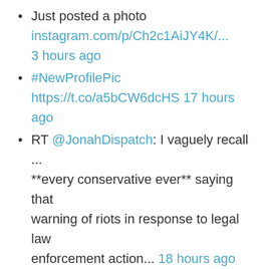Just posted a photo instagram.com/p/Ch2c1AiJY4K/... 3 hours ago
#NewProfilePic https://t.co/a5bCW6dcHS 17 hours ago
RT @JonahDispatch: I vaguely recall ... **every conservative ever** saying that warning of riots in response to legal law enforcement action... 18 hours ago
RT @JoashPThomas: The task of a modern day prophet isn't to win friends & influence people (even though this can be a helpful tactic). The... 21 hours ago
DATE: August 28, 2022 SERIES: Living By Faith TITLE: Consequences and Compassion TEXT: Genesis 21:1-21,